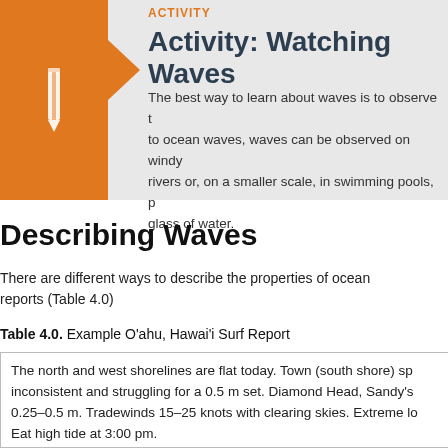ACTIVITY
Activity: Watching Waves
The best way to learn about waves is to observe them. In addition to ocean waves, waves can be observed on windy lakes or rivers or, on a smaller scale, in swimming pools, puddles, or a glass of water.
Describing Waves
There are different ways to describe the properties of ocean waves, as used in surf reports (Table 4.0)
Table 4.0. Example Oʿahu, Hawaiʻi Surf Report
| The north and west shorelines are flat today. Town (south shore) sp... inconsistent and struggling for a 0.5 m set. Diamond Head, Sandy's ... 0.25–0.5 m. Tradewinds 15–25 knots with clearing skies. Extreme lo... Eat high tide at 3:00 pm. |